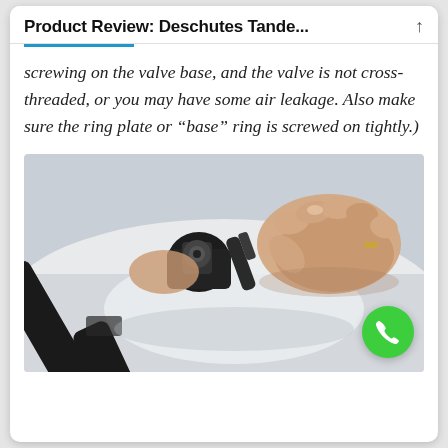Product Review: Deschutes Tande...
screwing on the valve base, and the valve is not cross-threaded, or you may have some air leakage. Also make sure the ring plate or “base” ring is screwed on tightly.)
[Figure (photo): Close-up photo of hands screwing a valve component onto an inflatable device with black straps, outdoors in bright light.]